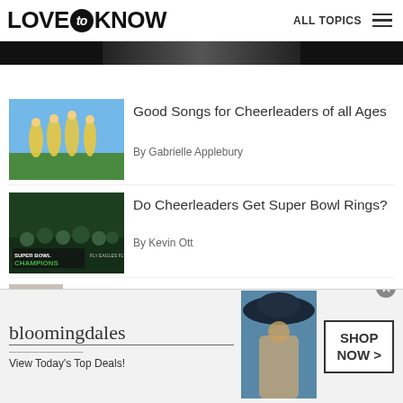LOVE to KNOW — ALL TOPICS
[Figure (photo): Partial dark image at top of page — cropped content]
[Figure (photo): Cheerleaders in yellow and black uniforms performing on field]
Good Songs for Cheerleaders of all Ages
By Gabrielle Applebury
[Figure (photo): Super Bowl Champions banner with Eagles fans/cheerleaders]
Do Cheerleaders Get Super Bowl Rings?
By Kevin Ott
[Figure (photo): Partial image of cheerleader with pom pom]
Cheerleading Chants
[Figure (photo): Bloomingdale's advertisement banner — View Today's Top Deals! SHOP NOW >]